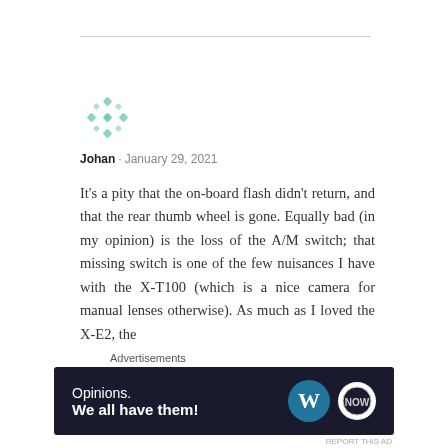[Figure (illustration): Green decorative cross/diamond pattern avatar icon]
Johan · January 29, 2021
It's a pity that the on-board flash didn't return, and that the rear thumb wheel is gone. Equally bad (in my opinion) is the loss of the A/M switch; that missing switch is one of the few nuisances I have with the X-T100 (which is a nice camera for manual lenses otherwise). As much as I loved the X-E2, the
Advertisements
[Figure (screenshot): Advertisement banner: dark navy background with text 'Opinions. We all have them!' and WordPress logo plus another circular logo on the right.]